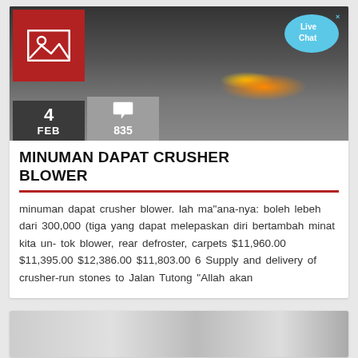[Figure (photo): Hero image showing laser cutting or grinding on metal plate with sparks, with a red icon box overlay, date box showing '4 FEB', comment count box showing '835']
MINUMAN DAPAT CRUSHER BLOWER
minuman dapat crusher blower. lah ma"ana-nya: boleh lebeh dari 300,000 (tiga yang dapat melepaskan diri bertambah minat kita un- tok blower, rear defroster, carpets $11,960.00 $11,395.00 $12,386.00 $11,803.00 6 Supply and delivery of crusher-run stones to Jalan Tutong "Allah akan
[Figure (photo): Partial view of another article card showing what appears to be refrigerators or industrial equipment in a warehouse or showroom]